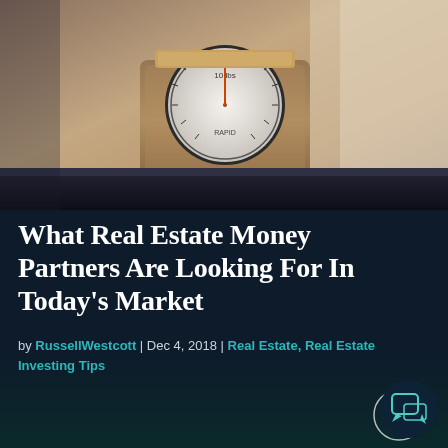[Figure (photo): Hero photo of a vintage kitchen scale on a dark shelf, warm brown tones with a circular dial face showing measurement markings]
What Real Estate Money Partners Are Looking For In Today's Market
by RussellWestcott | Dec 4, 2018 | Real Estate, Real Estate Investing Tips